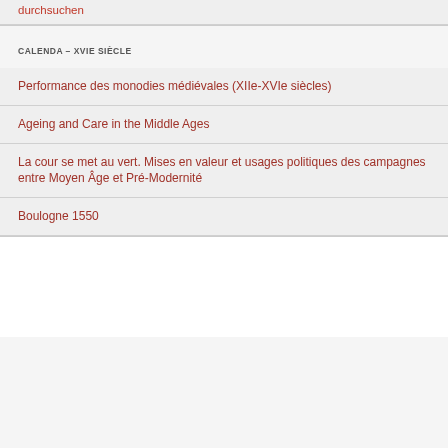durchsuchen
CALENDA – XVIE SIÈCLE
Performance des monodies médiévales (XIIe-XVIe siècles)
Ageing and Care in the Middle Ages
La cour se met au vert. Mises en valeur et usages politiques des campagnes entre Moyen Âge et Pré-Modernité
Boulogne 1550